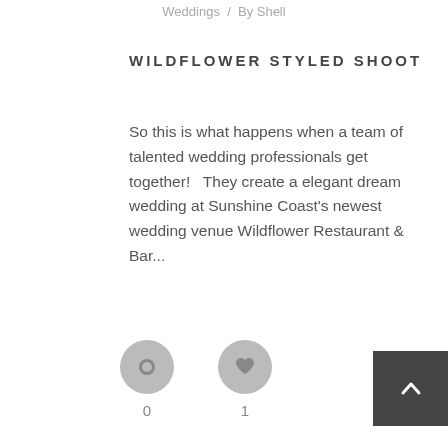Weddings / By Shell
WILDFLOWER STYLED SHOOT
So this is what happens when a team of talented wedding professionals get together!   They create a elegant dream wedding at Sunshine Coast's newest wedding venue Wildflower Restaurant & Bar...
[Figure (infographic): Two circular icon buttons: a comment/speech bubble icon showing count 0, and a heart/like icon showing count 1]
[Figure (other): Dark grey scroll-to-top button with upward caret arrow icon in bottom right corner]